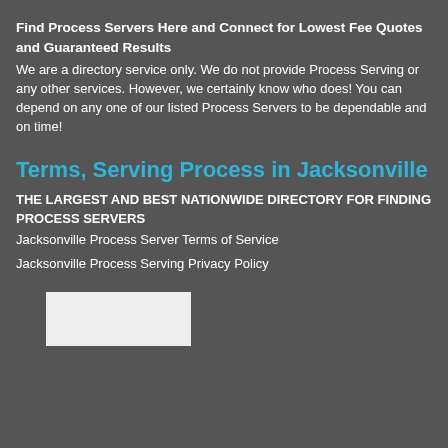Find Process Servers Here and Connect for Lowest Fee Quotes and Guaranteed Results
We are a directory service only. We do not provide Process Serving or any other services. However, we certainly know who does! You can depend on any one of our listed Process Servers to be dependable and on time!
Terms, Serving Process in Jacksonville
THE LARGEST AND BEST NATIONWIDE DIRECTORY FOR FINDING PROCESS SERVERS
Jacksonville Process Server Terms of Service
Jacksonville Process Serving Privacy Policy
[Figure (other): White rectangular box/banner image placeholder]